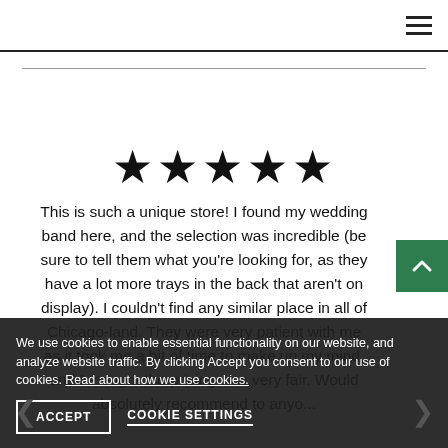Navigation menu icon
★★★★★
This is such a unique store!  I found my wedding band here, and the selection was incredible (be sure to tell them what you're looking for, as they have a lot more trays in the back that aren't on display).  I couldn't find any similar place in all of Chicago-land.  They were very patient with me as it took me a bit of time to make up my mind, and I thought the pricing was very fair.  Would absolutely recommend to anyo...
We use cookies to enable essential functionality on our website, and analyze website traffic. By clicking Accept you consent to our use of cookies. Read about how we use cookies.
ACCEPT
COOKIE SETTINGS